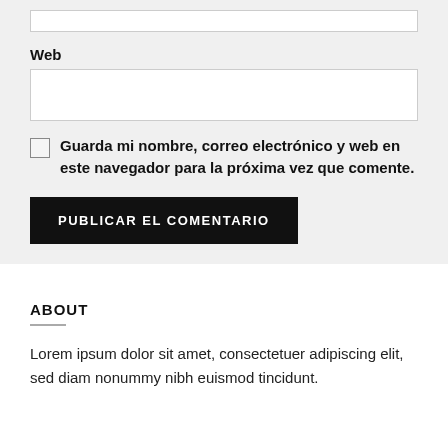Web
Guarda mi nombre, correo electrónico y web en este navegador para la próxima vez que comente.
PUBLICAR EL COMENTARIO
ABOUT
Lorem ipsum dolor sit amet, consectetuer adipiscing elit, sed diam nonummy nibh euismod tincidunt.